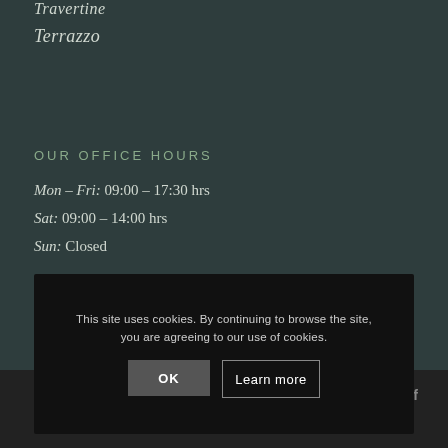Travertine
Terrazzo
OUR OFFICE HOURS
Mon – Fri:  09:00 – 17:30 hrs
Sat:  09:00 – 14:00 hrs
Sun:  Closed
This site uses cookies. By continuing to browse the site, you are agreeing to our use of cookies.
OK
Learn more
© Copyright Direct... | Sitemap | Data Privacy Statement | Cookie Policy